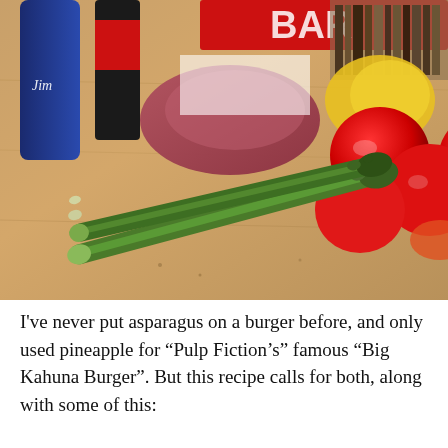[Figure (photo): A photograph of asparagus spears lying on a wooden cutting board, with ground beef, cherry tomatoes, a yellow pepper, and various condiment bottles and boxes visible in the background.]
I've never put asparagus on a burger before, and only used pineapple for “Pulp Fiction’s” famous “Big Kahuna Burger”. But this recipe calls for both, along with some of this: